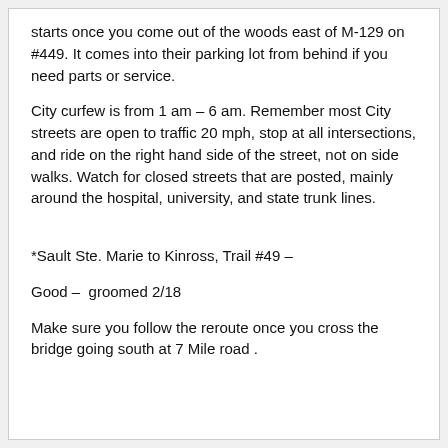starts once you come out of the woods east of M-129 on #449. It comes into their parking lot from behind if you need parts or service.
City curfew is from 1 am – 6 am. Remember most City streets are open to traffic 20 mph, stop at all intersections, and ride on the right hand side of the street, not on side walks. Watch for closed streets that are posted, mainly around the hospital, university, and state trunk lines.
*Sault Ste. Marie to Kinross, Trail #49 –
Good –  groomed 2/18
Make sure you follow the reroute once you cross the bridge going south at 7 Mile road .